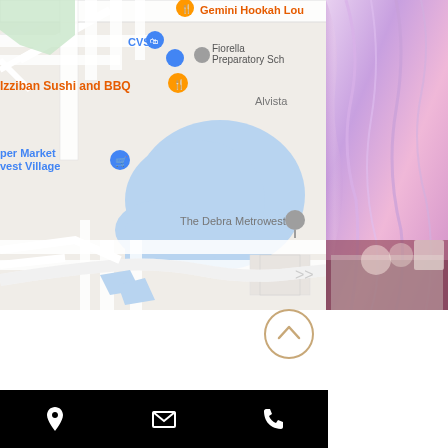[Figure (map): Google Maps screenshot showing area near Fiorella Preparatory School, CVS, Izziban Sushi and BBQ, Gemini Hookah Lounge, Super Market West Village, Alvista, and The Debra Metrowest. Blue water body visible in center-right area.]
[Figure (photo): Interior photo of an event venue with purple/pink draped fabric ceiling decorations and a decorated table with flowers and cake in foreground.]
[Figure (other): Scroll up button - circular golden/tan outlined button with upward chevron arrow icon.]
[Figure (other): Black navigation bar at bottom with three white icons: map pin/location icon, envelope/email icon, and phone icon.]